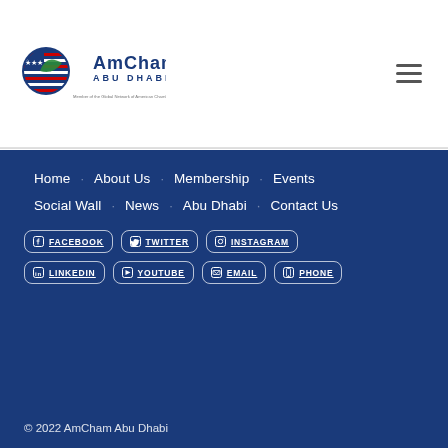[Figure (logo): AmCham Abu Dhabi logo with American flag and green leaf design, text 'AmCham Abu Dhabi' and subtitle 'Member of the Global Network of American Chambers of Commerce']
Home · About Us · Membership · Events
Social Wall · News · Abu Dhabi · Contact Us
FACEBOOK · TWITTER · INSTAGRAM · LINKEDIN · YOUTUBE · EMAIL · PHONE
© 2022 AmCham Abu Dhabi